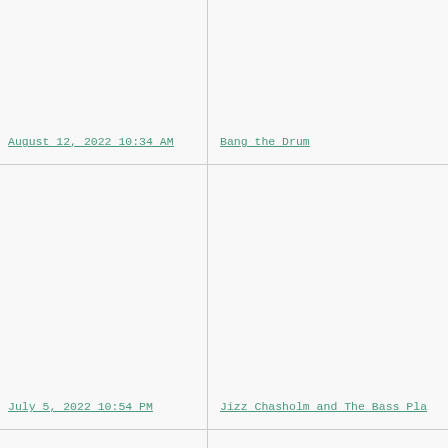August 12, 2022 10:34 AM
Bang the Drum
July 5, 2022 10:54 PM
Jizz Chasholm and The Bass Pla